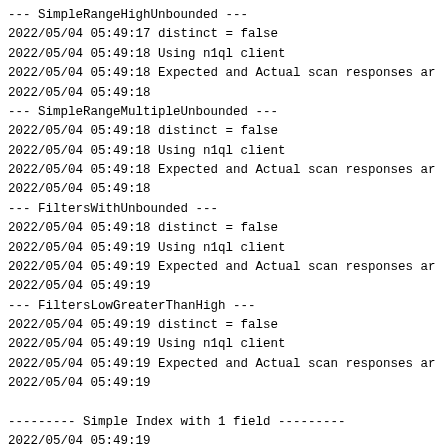--- SimpleRangeHighUnbounded ---
2022/05/04 05:49:17 distinct = false
2022/05/04 05:49:18 Using n1ql client
2022/05/04 05:49:18 Expected and Actual scan responses ar
2022/05/04 05:49:18
--- SimpleRangeMultipleUnbounded ---
2022/05/04 05:49:18 distinct = false
2022/05/04 05:49:18 Using n1ql client
2022/05/04 05:49:18 Expected and Actual scan responses ar
2022/05/04 05:49:18
--- FiltersWithUnbounded ---
2022/05/04 05:49:18 distinct = false
2022/05/04 05:49:19 Using n1ql client
2022/05/04 05:49:19 Expected and Actual scan responses ar
2022/05/04 05:49:19
--- FiltersLowGreaterThanHigh ---
2022/05/04 05:49:19 distinct = false
2022/05/04 05:49:19 Using n1ql client
2022/05/04 05:49:19 Expected and Actual scan responses ar
2022/05/04 05:49:19

--------- Simple Index with 1 field ---------
2022/05/04 05:49:19
--- SingleIndexSimpleRange ---
2022/05/04 05:49:19 distinct = false
2022/05/04 05:49:20 Using n1ql client
2022/05/04 05:49:20
--- SingleIndex_SimpleRanges_NonOverlapping ---
2022/05/04 05:49:20 distinct = false
2022/05/04 05:49:20 Using n1ql client